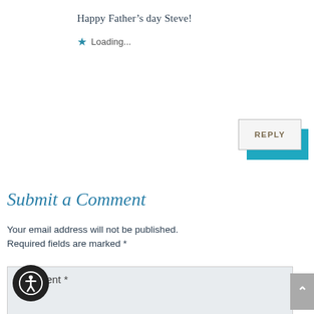Happy Father's day Steve!
★ Loading...
REPLY
Submit a Comment
Your email address will not be published. Required fields are marked *
Comment *
[Figure (other): Accessibility icon button (person in circle)]